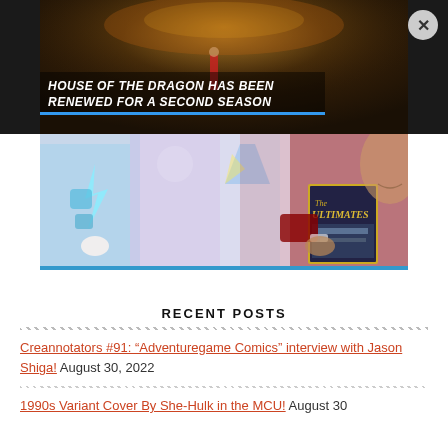[Figure (screenshot): House of the Dragon season renewal announcement banner with dark fantasy background showing a figure in red robes, with bold white italic text reading 'HOUSE OF THE DRAGON HAS BEEN RENEWED FOR A SECOND SEASON']
[Figure (illustration): Animated-style comic illustration showing Marvel characters including Thor and a person in red reading a book titled 'The Ultimates', with colorful superhero figures in background]
RECENT POSTS
Creannotators #91: “Adventuregame Comics” interview with Jason Shiga! August 30, 2022
1990s Variant Cover By She-Hulk in the MCU! August 30